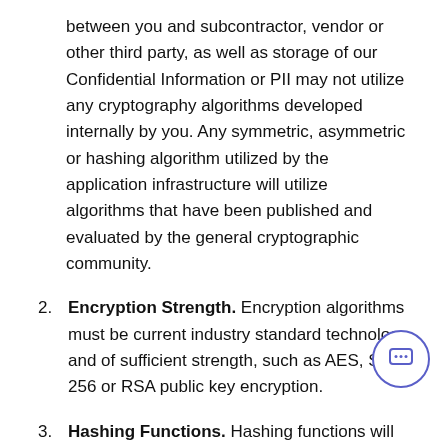between you and subcontractor, vendor or other third party, as well as storage of our Confidential Information or PII may not utilize any cryptography algorithms developed internally by you. Any symmetric, asymmetric or hashing algorithm utilized by the application infrastructure will utilize algorithms that have been published and evaluated by the general cryptographic community.
2. Encryption Strength. Encryption algorithms must be current industry standard technology and of sufficient strength, such as AES, SHA-256 or RSA public key encryption.
3. Hashing Functions. Hashing functions will be a combination of SHA-256 and at least one of MD-5, SHA-2, SHA-3 or similar, not including SHA-1. If alternate hashing functions are to be utilized will have explicit approval from our Information Security Team and must be accompanied by at